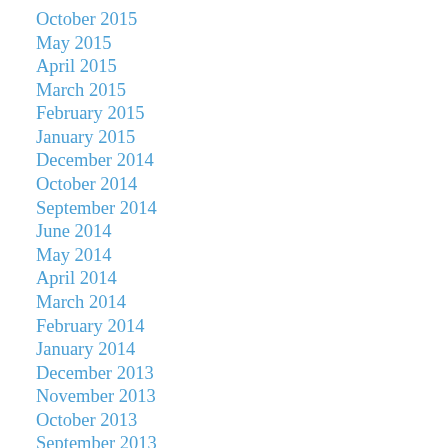October 2015
May 2015
April 2015
March 2015
February 2015
January 2015
December 2014
October 2014
September 2014
June 2014
May 2014
April 2014
March 2014
February 2014
January 2014
December 2013
November 2013
October 2013
September 2013
August 2013
July 2013